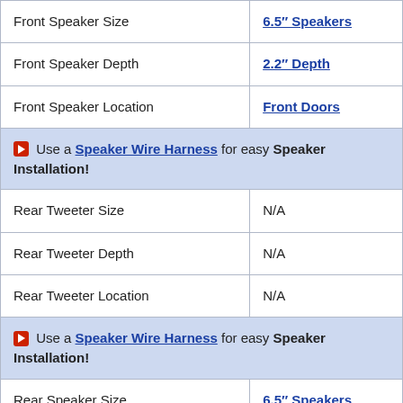| Front Speaker Size | 6.5" Speakers |
| Front Speaker Depth | 2.2" Depth |
| Front Speaker Location | Front Doors |
| [highlight] Use a Speaker Wire Harness for easy Speaker Installation! |  |
| Rear Tweeter Size | N/A |
| Rear Tweeter Depth | N/A |
| Rear Tweeter Location | N/A |
| [highlight] Use a Speaker Wire Harness for easy Speaker Installation! |  |
| Rear Speaker Size | 6.5" Speakers |
| Rear Speaker Depth | 3" Depth |